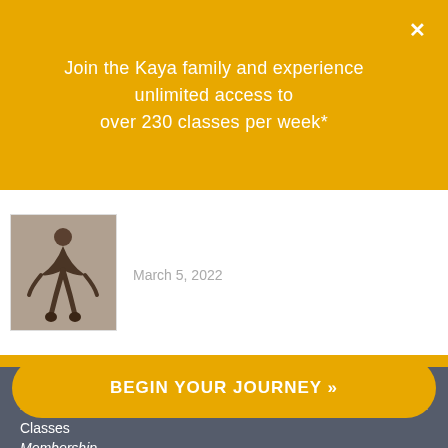Join the Kaya family and experience unlimited access to over 230 classes per week*
March 5, 2022
[Figure (photo): Small thumbnail photo of a person in a yoga/meditation pose, bronze-toned]
QUICKLINKS
Classes
Membership
Locations
Timetable
BEGIN YOUR JOURNEY »